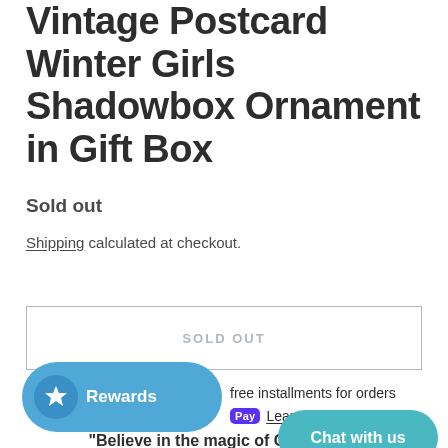Vintage Postcard Winter Girls Shadowbox Ornament in Gift Box
Sold out
Shipping calculated at checkout.
SOLD OUT
Rewards
free installments for orders
op Pay  Learn more
Chat with us
"Believe in the magic of Christmas"